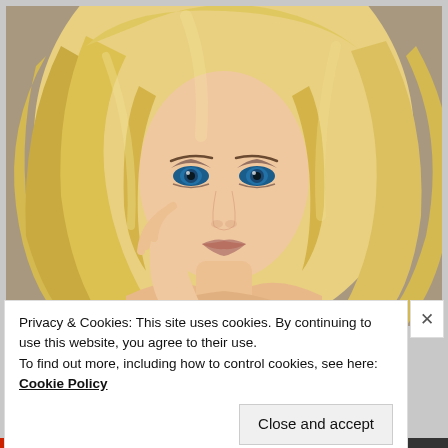[Figure (photo): Portrait photo of a blonde woman with long flowing hair, blue eyes, and smoky eye makeup, touching her face with her hand against a soft background.]
Privacy & Cookies: This site uses cookies. By continuing to use this website, you agree to their use.
To find out more, including how to control cookies, see here:
Cookie Policy
Close and accept